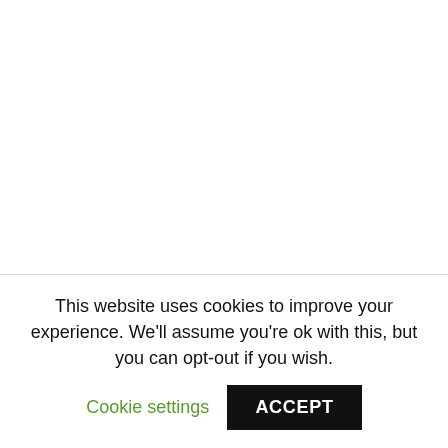Make Gorgeous Paper Roses With This Free Rose Template
This website uses cookies to improve your experience. We'll assume you're ok with this, but you can opt-out if you wish.
Cookie settings
ACCEPT